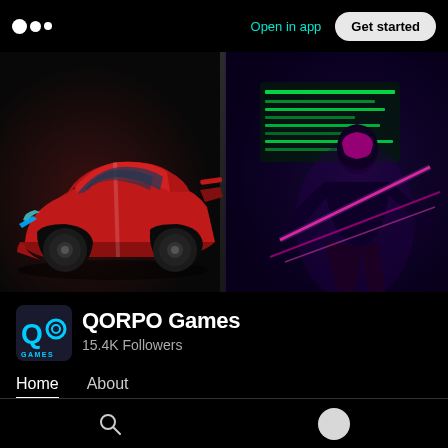Medium logo | Open in app | Get started
[Figure (screenshot): Hero banner split into two panels: left panel shows a red sports race car on a dark background; right panel shows a cyberpunk female character with neon pink laser beams and a glowing green computer screen]
QORPO Games
15.4K Followers
Home   About
4 days ago
Search icon | User avatar